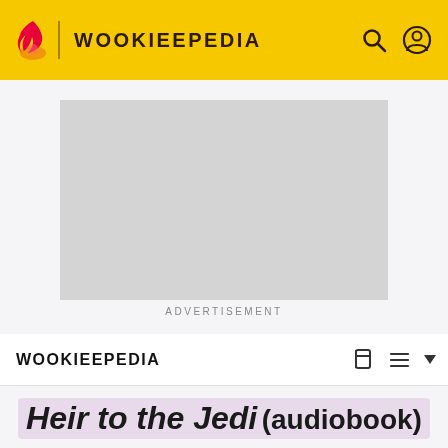WOOKIEEPEDIA
[Figure (other): Advertisement placeholder — grey rectangle with 'ADVERTISEMENT' label below]
ADVERTISEMENT
WOOKIEEPEDIA
Heir to the Jedi (audiobook)
EDIT